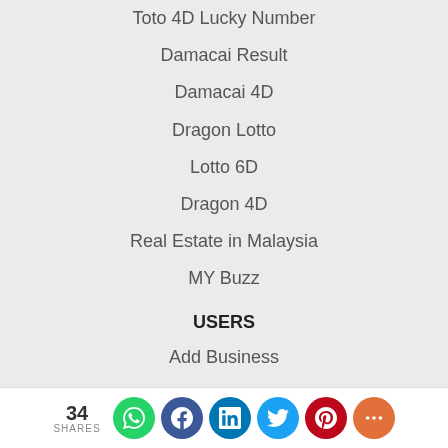Toto 4D Lucky Number
Damacai Result
Damacai 4D
Dragon Lotto
Lotto 6D
Dragon 4D
Real Estate in Malaysia
MY Buzz
USERS
Add Business
Remove Company
Sign in
Contact us
34 SHARES [social share buttons: WhatsApp, Facebook, LinkedIn, Twitter, Pinterest, More]